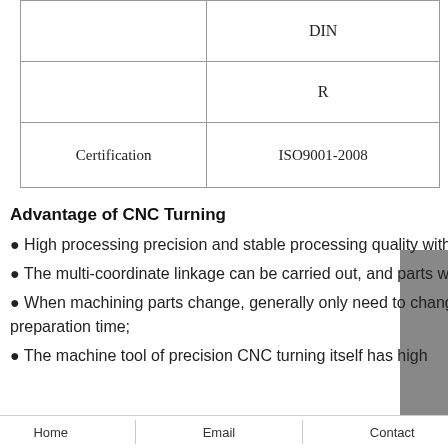|  |  |
| --- | --- |
|  | DIN |
|  | R |
| Certification | ISO9001-2008 |
Advantage of CNC Turning
● High processing precision and stable processing quality with our CNC milling turning;
● The multi-coordinate linkage can be carried out, and parts with complex shapes can be processed;
● When machining parts change, generally only need to change the numerical control program, which can save production preparation time;
● The machine tool of precision CNC turning itself has high
Home    Email    Contact